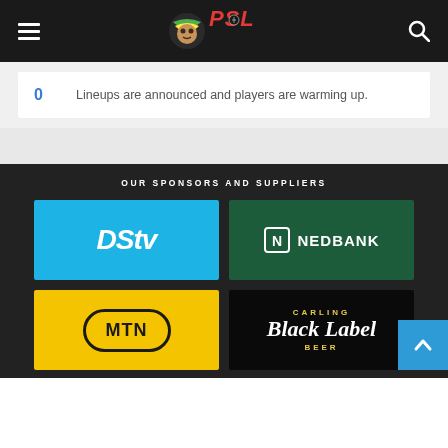PSL Premier Soccer League
0  Lineups are announced and players are warming up.
[Figure (logo): DStv sponsor logo - blue background with white DStv text]
[Figure (logo): Nedbank sponsor logo - dark green background with N icon and NEDBANK text]
[Figure (logo): MTN sponsor logo - yellow background with MTN in oval]
[Figure (logo): Carling Black Label Beer sponsor logo - black background with gold and white text]